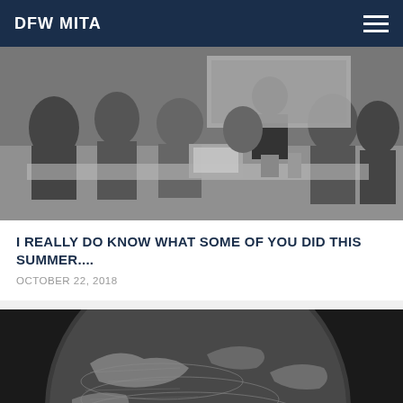DFW MITA
[Figure (photo): Black and white photo of people sitting around a conference table with laptops, with a presenter at the front near a screen.]
I REALLY DO KNOW WHAT SOME OF YOU DID THIS SUMMER....
OCTOBER 22, 2018
[Figure (photo): Close-up black and white photo of a globe showing geographic map details.]
WHAT'S IN A (NICK)NAME?